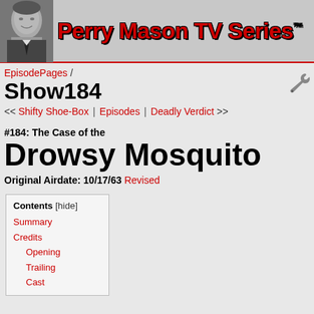[Figure (other): Perry Mason TV Series website header banner with black-and-white photo of actor on left and bold red/black 'Perry Mason TV Series™' title text on right]
EpisodePages / Show184
<< Shifty Shoe-Box | Episodes | Deadly Verdict >>
#184: The Case of the Drowsy Mosquito
Original Airdate: 10/17/63 Revised
Contents [hide]
Summary
Credits
  Opening
  Trailing
  Cast